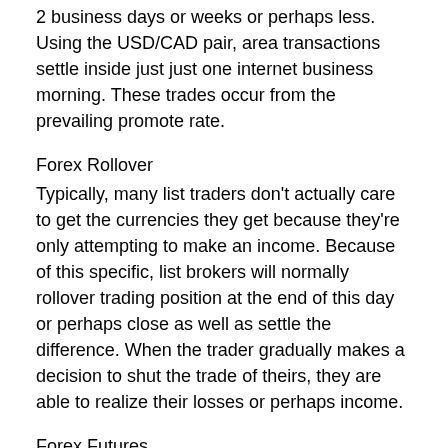2 business days or weeks or perhaps less. Using the USD/CAD pair, area transactions settle inside just just one internet business morning. These trades occur from the prevailing promote rate.
Forex Rollover
Typically, many list traders don't actually care to get the currencies they get because they're only attempting to make an income. Because of this specific, list brokers will normally rollover trading position at the end of this day or perhaps close as well as settle the difference. When the trader gradually makes a decision to shut the trade of theirs, they are able to realize their losses or perhaps income.
Forex Futures
A futures contract happens when you make an understanding with other people to give a specific amount